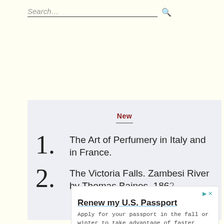Search...
New
1. The Art of Perfumery in Italy and in France.
2. The Victoria Falls. Zambesi River by Thomas Baines, 1862
Renew my U.S. Passport
Apply for your passport in the fall or winter to take advantage of faster processing.
U.S. Department of State
Learn More